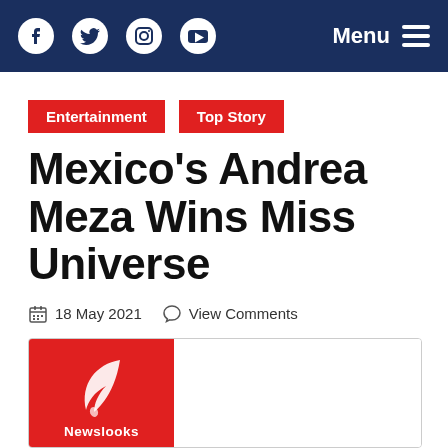Navigation bar with social icons (Facebook, Twitter, Instagram, YouTube) and Menu button
Entertainment
Top Story
Mexico's Andrea Meza Wins Miss Universe
18 May 2021   View Comments
[Figure (logo): Newslooks logo — white feather quill on red background with text 'Newslooks' below]